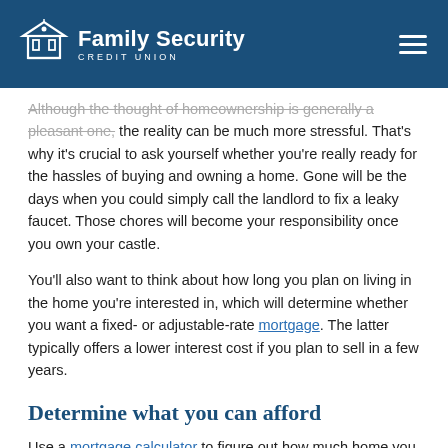Family Security Credit Union
Although the thought of homeownership is generally a pleasant one, the reality can be much more stressful. That's why it's crucial to ask yourself whether you're really ready for the hassles of buying and owning a home. Gone will be the days when you could simply call the landlord to fix a leaky faucet. Those chores will become your responsibility once you own your castle.
You'll also want to think about how long you plan on living in the home you're interested in, which will determine whether you want a fixed- or adjustable-rate mortgage. The latter typically offers a lower interest cost if you plan to sell in a few years.
Determine what you can afford
Use a mortgage calculator to figure out how much home you can afford.  It's one of the most important steps to take. To start, think about your down payment, as well as the transaction costs. Although